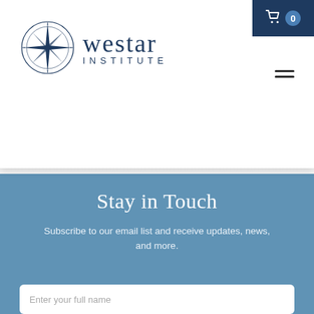[Figure (logo): Westar Institute logo with compass star and text]
Stay in Touch
Subscribe to our email list and receive updates, news, and more.